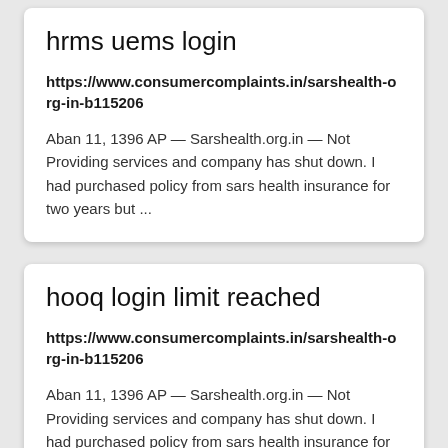hrms uems login
https://www.consumercomplaints.in/sarshealth-org-in-b115206
Aban 11, 1396 AP — Sarshealth.org.in — Not Providing services and company has shut down. I had purchased policy from sars health insurance for two years but ...
hooq login limit reached
https://www.consumercomplaints.in/sarshealth-org-in-b115206
Aban 11, 1396 AP — Sarshealth.org.in — Not Providing services and company has shut down. I had purchased policy from sars health insurance for two years but ...